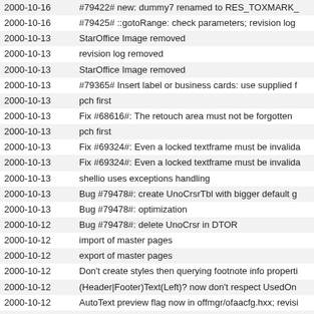| Date | Message |
| --- | --- |
| 2000-10-16 | #79422# new: dummy7 renamed to RES_TOXMARK_ |
| 2000-10-16 | #79425# ::gotoRange: check parameters; revision log |
| 2000-10-13 | StarOffice Image removed |
| 2000-10-13 | revision log removed |
| 2000-10-13 | StarOffice Image removed |
| 2000-10-13 | #79365# Insert label or business cards: use supplied f |
| 2000-10-13 | pch first |
| 2000-10-13 | Fix #68616#: The retouch area must not be forgotten |
| 2000-10-13 | pch first |
| 2000-10-13 | Fix #69324#: Even a locked textframe must be invalida |
| 2000-10-13 | Fix #69324#: Even a locked textframe must be invalida |
| 2000-10-13 | shellio uses exceptions handling |
| 2000-10-13 | Bug #79478#: create UnoCrsrTbl with bigger default g |
| 2000-10-13 | Bug #79478#: optimization |
| 2000-10-12 | Bug #79478#: delete UnoCrsr in DTOR |
| 2000-10-12 | import of master pages |
| 2000-10-12 | export of master pages |
| 2000-10-12 | Don't create styles then querying footnote info properti |
| 2000-10-12 | (Header|Footer)Text(Left)? now don't respect UsedOn |
| 2000-10-12 | AutoText preview flag now in offmgr/ofaacfg.hxx; revisi |
| 2000-10-12 | configuration properties have been added |
| 2000-10-12 | configuration property names have changed |
| 2000-10-12 | msocximp removed |
| 2000-10-12 | include vcl/graph.hxx (galbrws.hxx needs it for class G |
| 2000-10-12 | argument to PTR_CAST macro made into variable (eff |
| 2000-10-12 | #79090#: table:vertical-align -> fo:vertical-align |